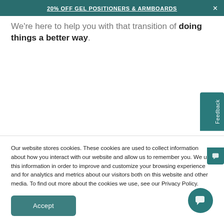20% OFF GEL POSITIONERS & ARMBOARDS
We're here to help you with that transition of doing things a better way.
Our website stores cookies. These cookies are used to collect information about how you interact with our website and allow us to remember you. We use this information in order to improve and customize your browsing experience and for analytics and metrics about our visitors both on this website and other media. To find out more about the cookies we use, see our Privacy Policy.